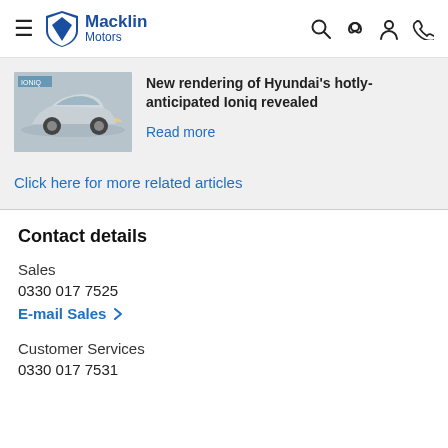Macklin Motors
New rendering of Hyundai's hotly-anticipated Ioniq revealed
Read more
Click here for more related articles
Contact details
Sales
0330 017 7525
E-mail Sales
Customer Services
0330 017 7531